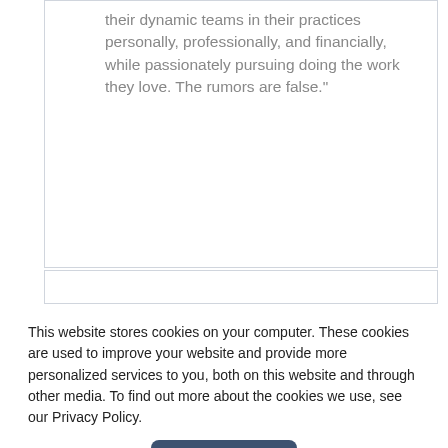their dynamic teams in their practices personally, professionally, and financially, while passionately pursuing doing the work they love. The rumors are false."
This website stores cookies on your computer. These cookies are used to improve your website and provide more personalized services to you, both on this website and through other media. To find out more about the cookies we use, see our Privacy Policy.